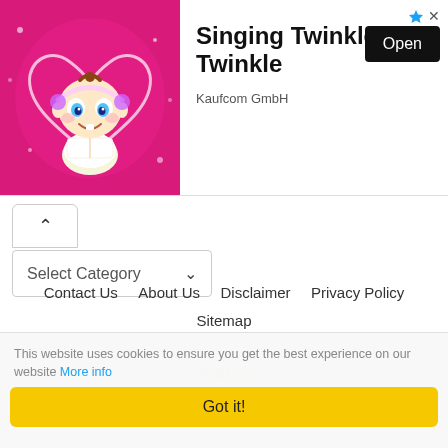[Figure (illustration): Ad banner with cartoon baby/toddler on pink sparkly background with heart shape, next to text 'Singing Twinkle Twinkle' by Kaufcom GmbH with an Open button]
Select Category
Contact Us   About Us   Disclaimer   Privacy Policy   Sitemap
© Botlif 2022
This website uses cookies to ensure you get the best experience on our website More info
Got it!